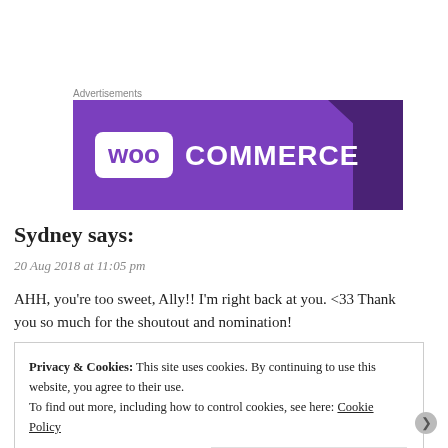Advertisements
[Figure (logo): WooCommerce advertisement banner with purple background and white WooCommerce logo]
Sydney says:
20 Aug 2018 at 11:05 pm
AHH, you're too sweet, Ally!! I'm right back at you. <33 Thank you so much for the shoutout and nomination!
Privacy & Cookies: This site uses cookies. By continuing to use this website, you agree to their use.
To find out more, including how to control cookies, see here: Cookie Policy
Close and accept